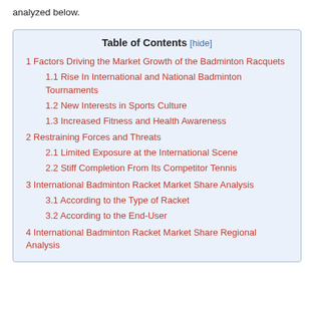analyzed below.
| 1 Factors Driving the Market Growth of the Badminton Racquets |
| 1.1 Rise In International and National Badminton Tournaments |
| 1.2 New Interests in Sports Culture |
| 1.3 Increased Fitness and Health Awareness |
| 2 Restraining Forces and Threats |
| 2.1 Limited Exposure at the International Scene |
| 2.2 Stiff Completion From Its Competitor Tennis |
| 3 International Badminton Racket Market Share Analysis |
| 3.1 According to the Type of Racket |
| 3.2 According to the End-User |
| 4 International Badminton Racket Market Share Regional Analysis |